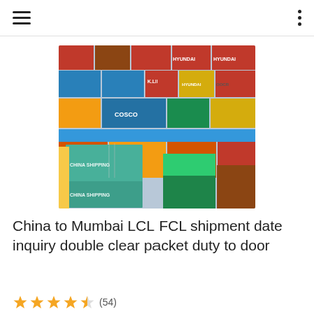[Figure (photo): Aerial view of stacked shipping containers in various colors (teal, blue, red, orange, brown) with COSCO, China Shipping, Hyundai branding visible on containers at a port yard.]
China to Mumbai LCL FCL shipment date inquiry double clear packet duty to door
★★★★☆ (54)